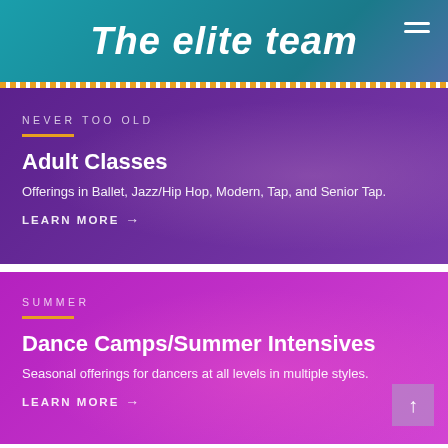The elite team
NEVER TOO OLD
Adult Classes
Offerings in Ballet, Jazz/Hip Hop, Modern, Tap, and Senior Tap.
LEARN MORE →
SUMMER
Dance Camps/Summer Intensives
Seasonal offerings for dancers at all levels in multiple styles.
LEARN MORE →